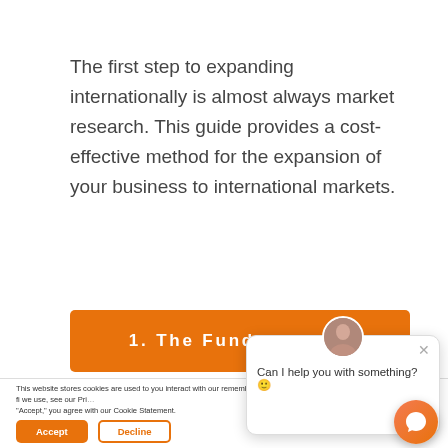The first step to expanding internationally is almost always market research. This guide provides a cost-effective method for the expansion of your business to international markets.
1. The Fundamentals
This website stores cookies are used to you interact with our remember you. To fi we use, see our Pri "Accept," you agree with our Cookie Statement.
Can I help you with something? 🙂